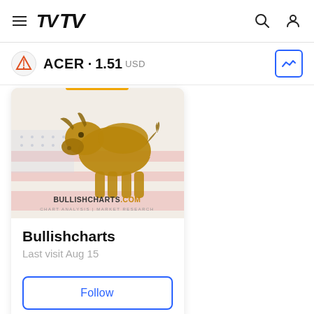TradingView navigation bar with hamburger menu, TV logo, search and user icons
ACER · 1.51 USD
[Figure (logo): Bullishcharts.com logo image: golden bull on American flag background with text BULLISHCHARTS.COM CHART ANALYSIS | MARKET RESEARCH]
Bullishcharts
Last visit Aug 15
Follow